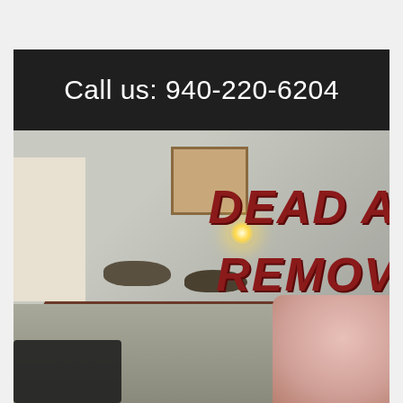[Figure (photo): A photo showing dead animals (rats/opossums) on a floor next to a wall with a hole cut in it. A worker is visible on the left side. Text overlay reads 'DEAD A... REMOV...' (Dead Animal Removal). A dark semi-transparent header bar overlays the top portion of the image.]
Call us: 940-220-6204